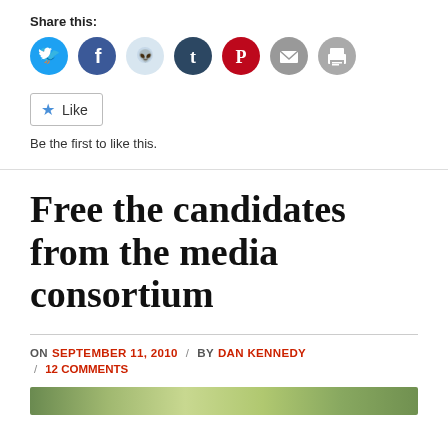Share this:
[Figure (infographic): Row of social sharing icon buttons: Twitter (blue), Facebook (blue), Reddit (light blue/grey), Tumblr (dark navy), Pinterest (red), Email (grey), Print (grey)]
[Figure (infographic): Like button widget with star icon and 'Like' text inside a bordered box]
Be the first to like this.
Free the candidates from the media consortium
ON SEPTEMBER 11, 2010 / BY DAN KENNEDY / 12 COMMENTS
[Figure (photo): Partial view of an outdoor photo, showing green foliage/landscape at the bottom of the page]